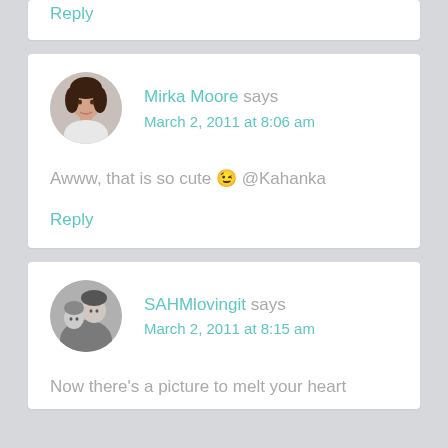Reply
Mirka Moore says
March 2, 2011 at 8:06 am

Awww, that is so cute 😉 @Kahanka

Reply
SAHMlovingit says
March 2, 2011 at 8:15 am

Now there's a picture to melt your heart